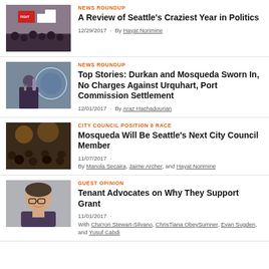[Figure (photo): Crowd of protesters holding signs including a Fight sign with fists]
NEWS ROUNDUP
A Review of Seattle's Craziest Year in Politics
12/29/2017 · By Hayat Norimine
[Figure (photo): Woman speaking in front of a City of Seattle official seal]
NEWS ROUNDUP
Top Stories: Durkan and Mosqueda Sworn In, No Charges Against Urquhart, Port Commission Settlement
12/01/2017 · By Araz Hachadourian
[Figure (photo): Crowd celebrating at an indoor venue]
CITY COUNCIL POSITION 8 RACE
Mosqueda Will Be Seattle's Next City Council Member
11/07/2017 · By Manola Secaira, Jaime Archer, and Hayat Norimine
[Figure (photo): Man with glasses smiling in front of a grey wall]
GUEST OPINION
Tenant Advocates on Why They Support Grant
11/01/2017 · With Cha'ron Stewart-Silvano, ChrisTiana ObeySumner, Evan Sugden, and Yusuf Cabdi